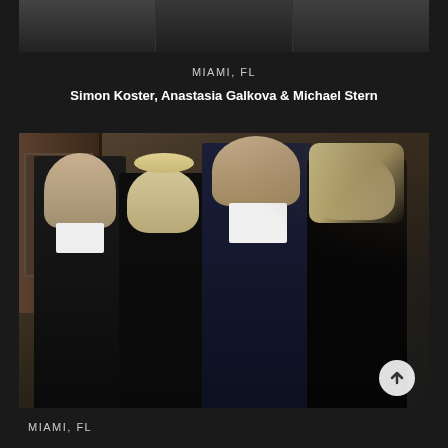[Figure (photo): Partial top photo showing people at an event, cropped at top of page]
MIAMI, FL
Simon Koster, Anastasia Galkova & Michael Stern
[Figure (photo): Four people posing together at an event: two men and two women. Left man in black suit, blonde woman in black dress, tall man in navy suit with white shirt, blonde woman in dark top. Indoor event setting.]
MIAMI, FL